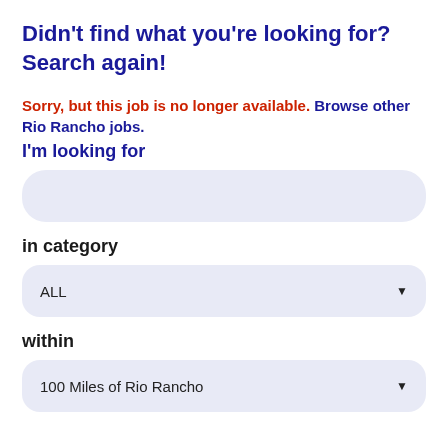Didn't find what you're looking for? Search again!
Sorry, but this job is no longer available. Browse other Rio Rancho jobs.
I'm looking for
[Figure (other): Text input field with light blue rounded background]
in category
[Figure (other): Dropdown selector showing ALL with down arrow, light blue rounded background]
within
[Figure (other): Dropdown selector showing 100 Miles of Rio Rancho with down arrow, light blue rounded background]